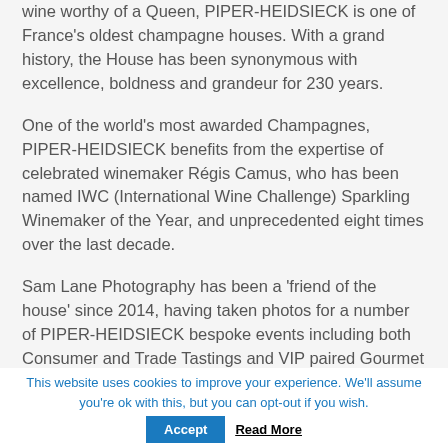wine worthy of a Queen, PIPER-HEIDSIECK is one of France's oldest champagne houses. With a grand history, the House has been synonymous with excellence, boldness and grandeur for 230 years.
One of the world's most awarded Champagnes, PIPER-HEIDSIECK benefits from the expertise of celebrated winemaker Régis Camus, who has been named IWC (International Wine Challenge) Sparkling Winemaker of the Year, and unprecedented eight times over the last decade.
Sam Lane Photography has been a 'friend of the house' since 2014, having taken photos for a number of PIPER-HEIDSIECK bespoke events including both Consumer and Trade Tastings and VIP paired Gourmet Dinners. This included a Trade Press dinner in honour of
This website uses cookies to improve your experience. We'll assume you're ok with this, but you can opt-out if you wish.